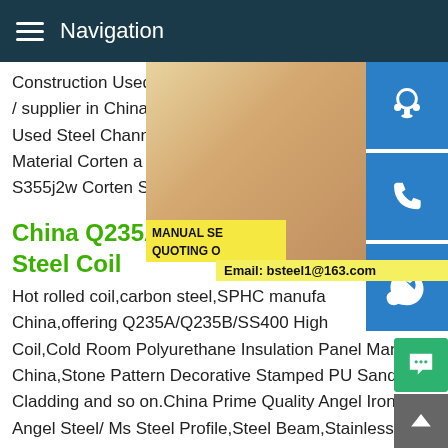Navigation
Construction Used SteelH Beam,Steel Be... / supplier in China,offering Ss400 A36 Hot Used Steel Channel H Beam,Weathering Material Corten a Steel Sheet,ASTM A588 S355j2w Corten Steel Plate and so on.
China Q235A/Q235B/SS400 Steel Coil
Hot rolled coil,carbon steel,SPHC manufacturer in China,offering Q235A/Q235B/SS400 High... Coil,Cold Room Polyurethane Insulation Panel Manufacturer in China,Stone Pattern Decorative Stamped PU Sandwich Panel Wall Cladding and so on.China Prime Quality Angel Iron/ Hot Rolled Angel Steel/ Ms Steel Profile,Steel Beam,Stainless Steel manufacturer / supplier in China,offering Prime Quality Angel Iron/ Hot Rolled Angel Steel/ Ms Angles L Profile Equal or Unequal
[Figure (photo): Customer service representative woman wearing headset, smiling, with contact icons (headset, phone, Skype) on the right side and email/chat buttons]
MANUAL SE... QUOTING O... Email: bsteel1@163.com